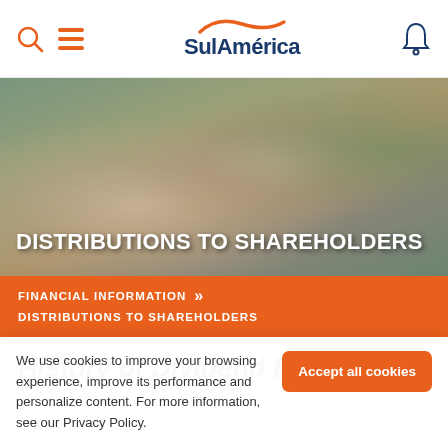SulAmérica
[Figure (photo): Photo of two people (appears to be a mother and daughter) exercising or doing yoga together indoors, smiling. Background includes a plant and wooden furniture.]
DISTRIBUTIONS TO SHAREHOLDERS
FINANCIAL INFORMATION >> DISTRIBUTIONS TO SHAREHOLDERS
History of Dividend Distribution
We use cookies to improve your browsing experience, improve its performance and personalize content. For more information, see our Privacy Policy.